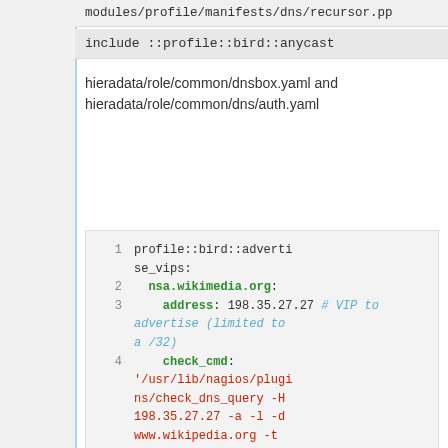modules/profile/manifests/dns/recursor.pp
include ::profile::bird::anycast
hieradata/role/common/dnsbox.yaml and hieradata/role/common/dns/auth.yaml
profile::bird::advertise_vips:
  nsa.wikimedia.org:
    address: 198.35.27.27 # VIP to advertise (limited to a /32)
    check_cmd: '/usr/lib/nagios/plugins/check_dns_query -H 198.35.27.27 -a -l -d www.wikipedia.org -t 1'
    ensure: present
    service_type: authdns